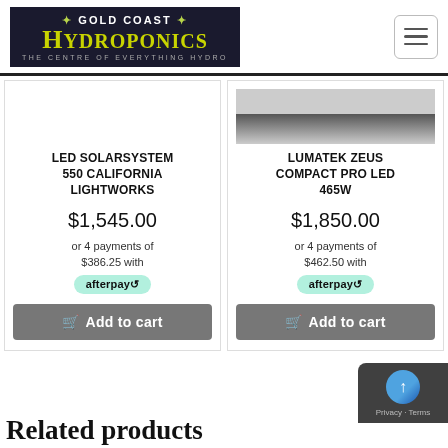[Figure (logo): Gold Coast Hydroponics logo — dark background, yellow-green text reading GOLD COAST HYDROPONICS, subtitle THE CENTRE OF EVERYTHING HYDRO]
LED SOLARSYSTEM 550 CALIFORNIA LIGHTWORKS
$1,545.00
or 4 payments of $386.25 with afterpay
Add to cart
LUMATEK ZEUS COMPACT PRO LED 465W
$1,850.00
or 4 payments of $462.50 with afterpay
Add to cart
Related products